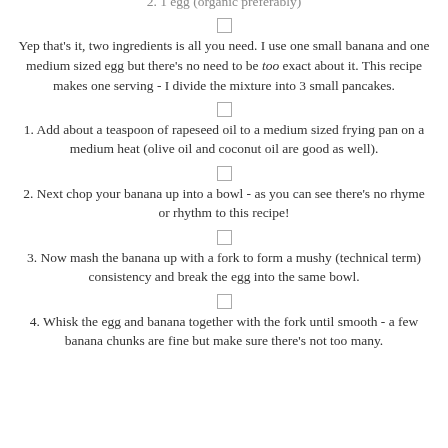2. 1 egg (organic preferably)
Yep that's it, two ingredients is all you need. I use one small banana and one medium sized egg but there's no need to be too exact about it. This recipe makes one serving - I divide the mixture into 3 small pancakes.
1. Add about a teaspoon of rapeseed oil to a medium sized frying pan on a medium heat (olive oil and coconut oil are good as well).
2. Next chop your banana up into a bowl - as you can see there's no rhyme or rhythm to this recipe!
3. Now mash the banana up with a fork to form a mushy (technical term) consistency and break the egg into the same bowl.
4. Whisk the egg and banana together with the fork until smooth - a few banana chunks are fine but make sure there's not too many.